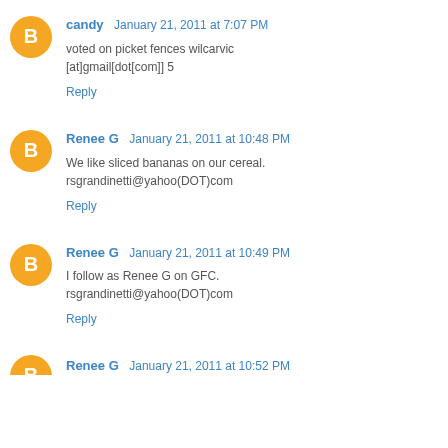candy  January 21, 2011 at 7:07 PM
voted on picket fences wilcarvic [at]gmail[dot[com]] 5
Reply
Renee G  January 21, 2011 at 10:48 PM
We like sliced bananas on our cereal. rsgrandinetti@yahoo(DOT)com
Reply
Renee G  January 21, 2011 at 10:49 PM
I follow as Renee G on GFC. rsgrandinetti@yahoo(DOT)com
Reply
Renee G  January 21, 2011 at 10:52 PM